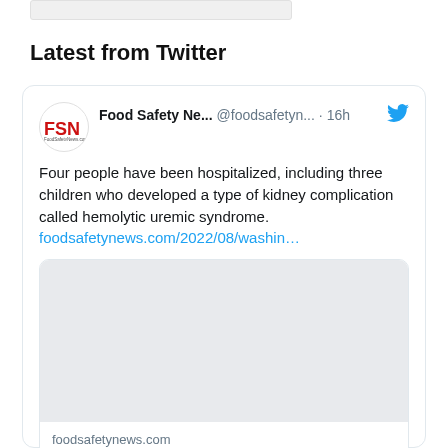Latest from Twitter
[Figure (screenshot): A Twitter/social media embed card from Food Safety Ne... @foodsafetyn... · 16h. Tweet text: 'Four people have been hospitalized, including three children who developed a type of kidney complication called hemolytic uremic syndrome.' with a link to foodsafetynews.com/2022/08/washin... and a preview card showing foodsafetynews.com with title 'Washington state officials investigate' and a partial snippet line.]